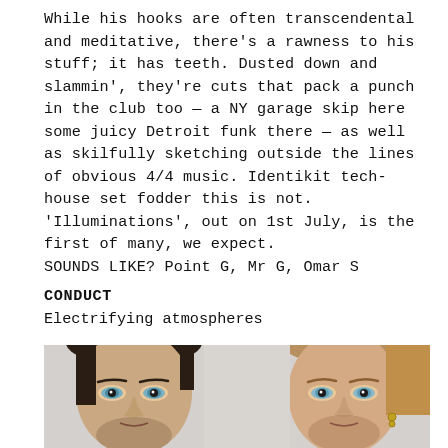While his hooks are often transcendental and meditative, there's a rawness to his stuff; it has teeth. Dusted down and slammin', they're cuts that pack a punch in the club too — a NY garage skip here some juicy Detroit funk there — as well as skilfully sketching outside the lines of obvious 4/4 music. Identikit tech-house set fodder this is not. 'Illuminations', out on 1st July, is the first of many, we expect. SOUNDS LIKE? Point G, Mr G, Omar S
CONDUCT
Electrifying atmospheres
[Figure (photo): Two men's faces cropped from forehead to chin, on a light grey/white background. Left: dark hair, stubble, looking slightly down. Right: lighter hair tied back, earring, slight beard.]